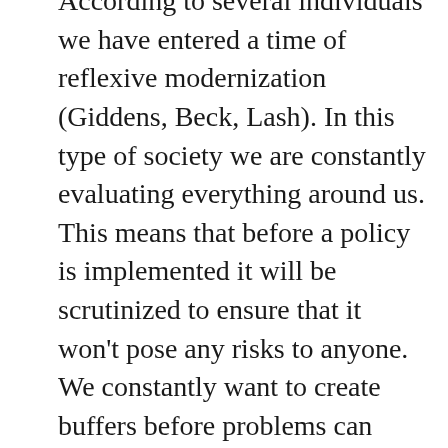According to several individuals we have entered a time of reflexive modernization (Giddens, Beck, Lash). In this type of society we are constantly evaluating everything around us. This means that before a policy is implemented it will be scrutinized to ensure that it won't pose any risks to anyone. We constantly want to create buffers before problems can happen. Because if they do, groups of people will be blamed and will be held responsible. An opinion I often hear from parents on scientists is: 'with my first child I had to make sure that I positioned him like this and that in their crib, but with my second child I had to do the exact opposite! It is like scientists can't make up their minds!'. Besides, you want to do the best you can and follow orders from your doctor, but they cannot anticipate everything, unfortunately! But then we reach this state where truth becomes this philosophical concept. Because when is something really true? Before you come up with a definition, I can write an